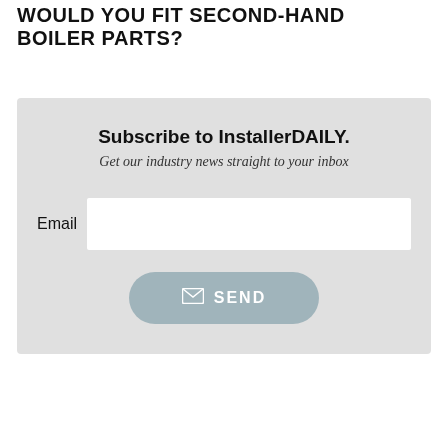WOULD YOU FIT SECOND-HAND BOILER PARTS?
[Figure (other): Newsletter subscription form with heading 'Subscribe to InstallerDAILY.', subtext 'Get our industry news straight to your inbox', an Email input field, and a SEND button with envelope icon.]